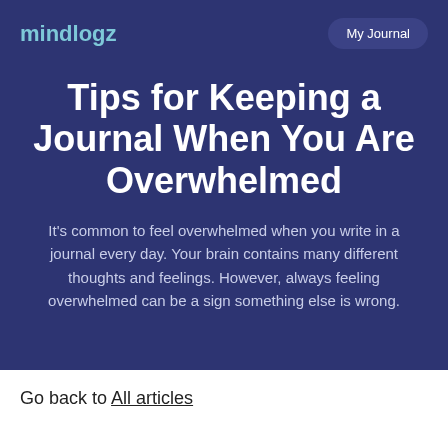mindlogz   My Journal
Tips for Keeping a Journal When You Are Overwhelmed
It's common to feel overwhelmed when you write in a journal every day. Your brain contains many different thoughts and feelings. However, always feeling overwhelmed can be a sign something else is wrong.
Go back to All articles